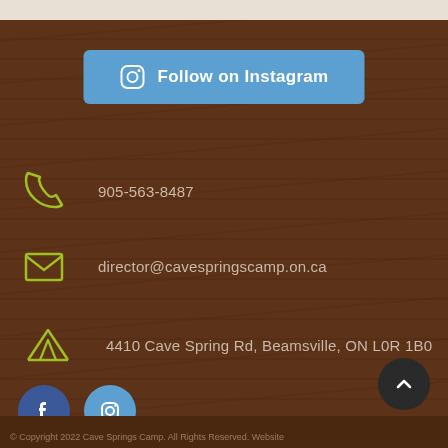[Figure (other): Follow on Instagram button with Instagram icon, blue rounded rectangle]
905-563-8487
director@cavespringscamp.on.ca
4410 Cave Spring Rd, Beamsville, ON L0R 1B0
[Figure (other): Social media icons: Facebook (dark blue circle with f) and Instagram (medium blue circle with camera icon)]
© Copyright 2022 Cave Springs Camp. All Rights Reserved. Website